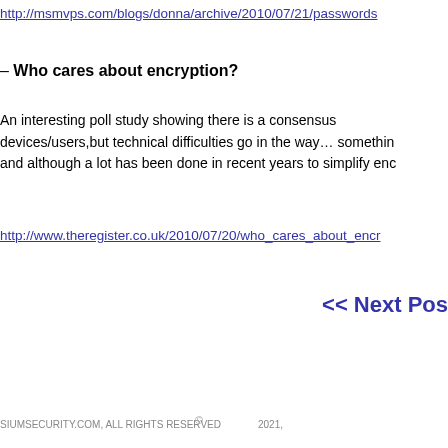http://msmvps.com/blogs/donna/archive/2010/07/21/passwords
– Who cares about encryption?
An interesting poll study showing there is a consensus devices/users,but technical difficulties go in the way… something and although a lot has been done in recent years to simplify enc
http://www.theregister.co.uk/2010/07/20/who_cares_about_encr
<< Next Pos
SIUMSECURITY.COM, ALL RIGHTS RESERVED   ©   2021,